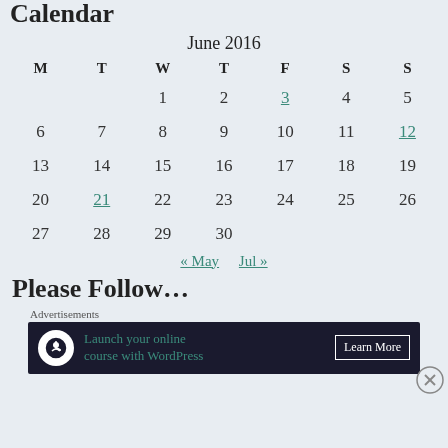Calendar
June 2016
| M | T | W | T | F | S | S |
| --- | --- | --- | --- | --- | --- | --- |
|  |  | 1 | 2 | 3 | 4 | 5 |
| 6 | 7 | 8 | 9 | 10 | 11 | 12 |
| 13 | 14 | 15 | 16 | 17 | 18 | 19 |
| 20 | 21 | 22 | 23 | 24 | 25 | 26 |
| 27 | 28 | 29 | 30 |  |  |  |
« May   Jul »
Please Follow…
Advertisements
Launch your online course with WordPress   Learn More